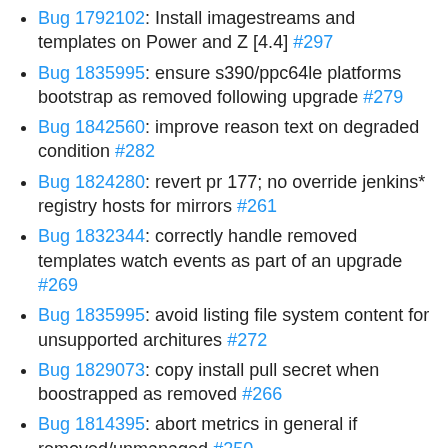Bug 1792102: Install imagestreams and templates on Power and Z [4.4] #297
Bug 1835995: ensure s390/ppc64le platforms bootstrap as removed following upgrade #279
Bug 1842560: improve reason text on degraded condition #282
Bug 1824280: revert pr 177; no override jenkins* registry hosts for mirrors #261
Bug 1832344: correctly handle removed templates watch events as part of an upgrade #269
Bug 1835995: avoid listing file system content for unsupported architures #272
Bug 1829073: copy install pull secret when boostrapped as removed #266
Bug 1814395: abort metrics in general if removed/unmanaged #250
Bug 1811204: purge removed imagestreams as a part of upgrade from progessing/impor… #242
Bug 1895247: [release 4.4] manifests: add...